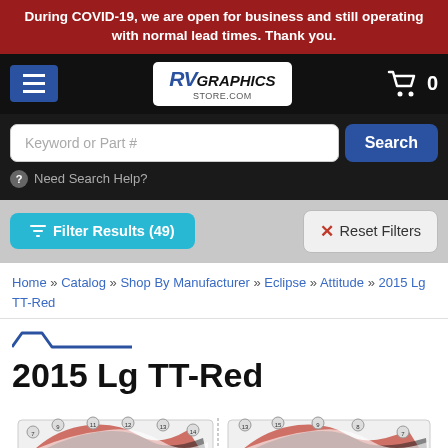During COVID-19, we are open for business and still operating with normal lead times. Thank you.
[Figure (screenshot): RVGraphicsStore.com website navigation bar with hamburger menu, logo, and cart icon showing 0 items]
[Figure (screenshot): Search bar with placeholder text 'Keyword or Part #', Search button, and 'Need Search Help?' link]
[Figure (screenshot): Filter Results (49) button and Reset Filters button]
Home » Catalog » Shop By Manufacturer » Eclipse » Attitude » 2015 Lg TT-Red
2015 Lg TT-Red
[Figure (schematic): RV graphic kit diagram showing numbered decal placement layout for 2015 Attitude Lg TT-Red with red, black, and white graphics]